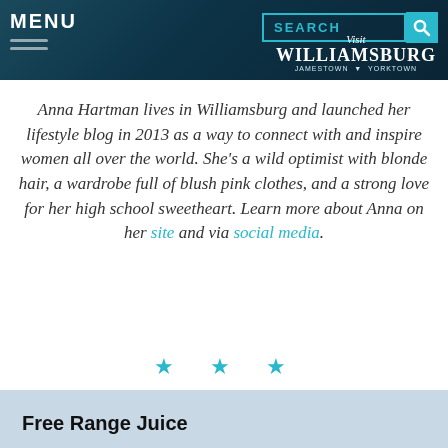MENU | SEARCH | Visit Williamsburg Jamestown Yorktown
Anna Hartman lives in Williamsburg and launched her lifestyle blog in 2013 as a way to connect with and inspire women all over the world. She's a wild optimist with blonde hair, a wardrobe full of blush pink clothes, and a strong love for her high school sweetheart. Learn more about Anna on her site and via social media.
[Figure (illustration): Three teal star/asterisk decorative divider symbols]
Free Range Juice